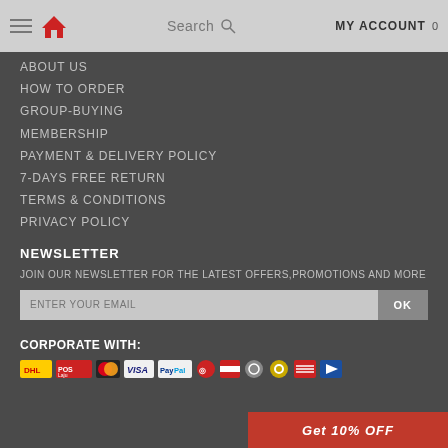Search | MY ACCOUNT | 0
ABOUT US
HOW TO ORDER
GROUP-BUYING
MEMBERSHIP
PAYMENT & DELIVERY POLICY
7-DAYS FREE RETURN
TERMS & CONDITIONS
PRIVACY POLICY
NEWSLETTER
JOIN OUR NEWSLETTER FOR THE LATEST OFFERS,PROMOTIONS AND MORE
ENTER YOUR EMAIL | OK
CORPORATE WITH:
[Figure (logo): Payment and delivery partner logos: DHL, POS Laju, MasterCard, VISA, PayPal, and others]
Get 10% OFF